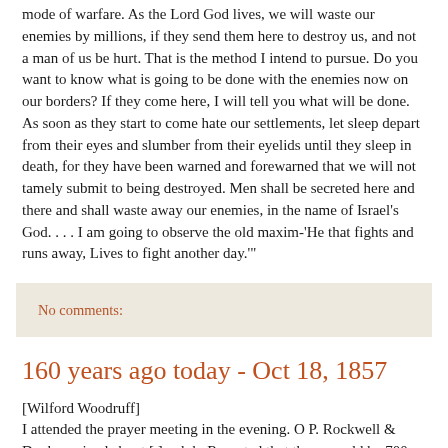mode of warfare. As the Lord God lives, we will waste our enemies by millions, if they send them here to destroy us, and not a man of us be hurt. That is the method I intend to pursue. Do you want to know what is going to be done with the enemies now on our borders? If they come here, I will tell you what will be done. As soon as they start to come hate our settlements, let sleep depart from their eyes and slumber from their eyelids until they sleep in death, for they have been warned and forewarned that we will not tamely submit to being destroyed. Men shall be secreted here and there and shall waste away our enemies, in the name of Israel's God. . . . I am going to observe the old maxim-'He that fights and runs away, Lives to fight another day.'"
No comments:
160 years ago today - Oct 18, 1857
[Wilford Woodruff]
I attended the prayer meeting in the evening. O P. Rockwell & Dunbar arived about [ ] oclok. Reported that there would be 700